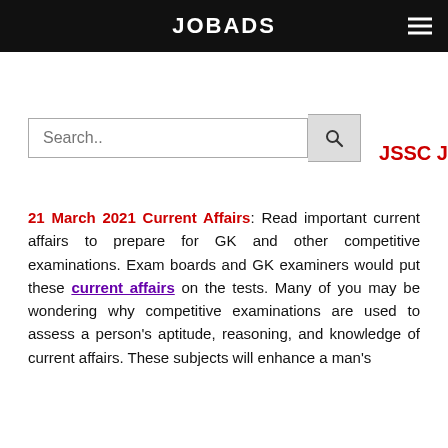JOBADS
JSSC J
Search..
21 March 2021 Current Affairs: Read important current affairs to prepare for GK and other competitive examinations. Exam boards and GK examiners would put these current affairs on the tests. Many of you may be wondering why competitive examinations are used to assess a person's aptitude, reasoning, and knowledge of current affairs. These subjects will enhance a man's